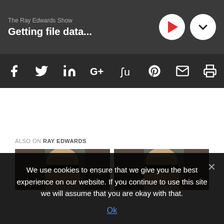The Ray Edwards Show
Getting file data...
[Figure (screenshot): Social share icon bar with icons for Facebook, Twitter, LinkedIn, Google+, StumbleUpon, Pinterest, Email, Print on dark background]
ALSO ON RAY EDWARDS
[Figure (photo): Two thumbnail images side by side showing a bald man with glasses]
We use cookies to ensure that we give you the best experience on our website. If you continue to use this site we will assume that you are okay with that.
Ok